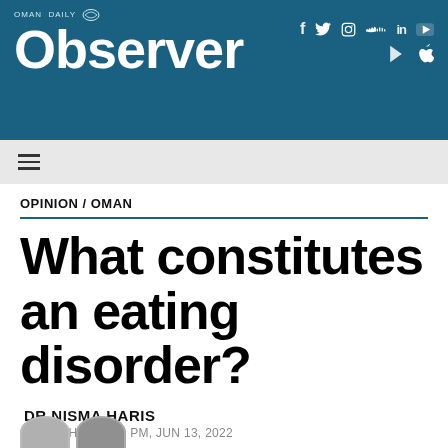Oman Daily Observer
OPINION / OMAN
What constitutes an eating disorder?
DR NISMA HARIS
PUBLISHED: 8:31 PM, JUN 13, 2022